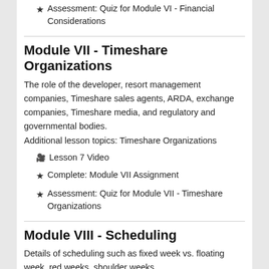Assessment: Quiz for Module VI - Financial Considerations
Module VII - Timeshare Organizations
The role of the developer, resort management companies, Timeshare sales agents, ARDA, exchange companies, Timeshare media, and regulatory and governmental bodies. Additional lesson topics: Timeshare Organizations
Lesson 7 Video
Complete: Module VII Assignment
Assessment: Quiz for Module VII - Timeshare Organizations
Module VIII - Scheduling
Details of scheduling such as fixed week vs. floating week, red weeks, shoulder weeks,